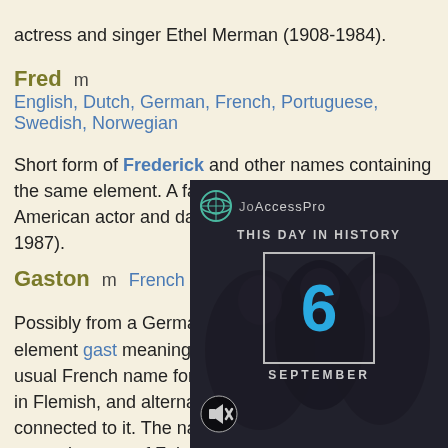actress and singer Ethel Merman (1908-1984).
Fred   m   English, Dutch, German, French, Portuguese, Swedish, Norwegian
Short form of Frederick and other names containing the same element. A famous bearer was the American actor and dancer Fred Astaire (1899-1987).
Gaston   m   French
Possibly from a Germanic name derived from the element gast meaning "stranger, guest". This is the usual French name for Saint Vedastus, called Vaast in Flemish, and alternatively the name may be connected to it. The name was also borne by several counts of Foix-Béarn, beginning in the 13th century.
Geraldine   f   Engl...
Feminine form of Gerald... Howard for use in a 1537... whom he terms The Gera...
Gladys   f   Welsh, B...
[Figure (screenshot): A dark overlay popup showing 'THIS DAY IN HISTORY' with the date 6 SEPTEMBER, with a mute button icon, overlaid on a background image of people.]